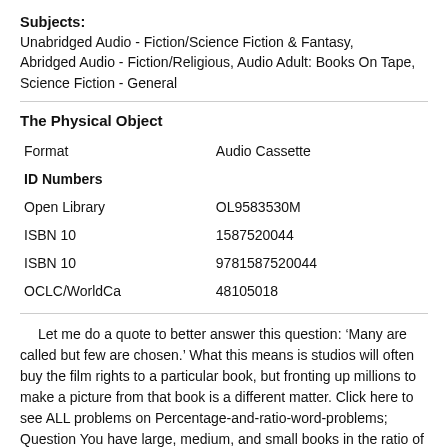Subjects: Unabridged Audio - Fiction/Science Fiction & Fantasy, Abridged Audio - Fiction/Religious, Audio Adult: Books On Tape, Science Fiction - General
The Physical Object
| Format | Audio Cassette |
| ID Numbers |  |
| Open Library | OL9583530M |
| ISBN 10 | 1587520044 |
| ISBN 10 | 9781587520044 |
| OCLC/WorldCa | 48105018 |
Let me do a quote to better answer this question: ‘Many are called but few are chosen.’ What this means is studios will often buy the film rights to a particular book, but fronting up millions to make a picture from that book is a different matter. Click here to see ALL problems on Percentage-and-ratio-word-problems; Question You have large, medium, and small books in the ratio of and you have a total of 32 books. How many small books do you have? Answer by Alan() (Show